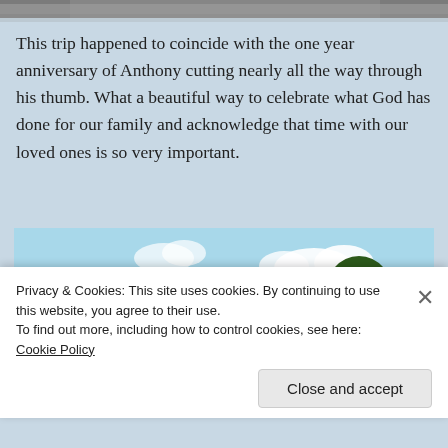[Figure (photo): Top portion of a photo showing a gray stone/brick paved surface or walkway, cropped at top of page]
This trip happened to coincide with the one year anniversary of Anthony cutting nearly all the way through his thumb. What a beautiful way to celebrate what God has done for our family and acknowledge that time with our loved ones is so very important.
[Figure (photo): Outdoor scene at what appears to be a theme park or outdoor shopping area (possibly Disney Springs/Downtown Disney). Colorful directional signpost with green and blue signs in center. Red building on left, trees throughout, people walking, blue sky with clouds. A man is visible in the lower right foreground.]
Privacy & Cookies: This site uses cookies. By continuing to use this website, you agree to their use.
To find out more, including how to control cookies, see here: Cookie Policy
Close and accept